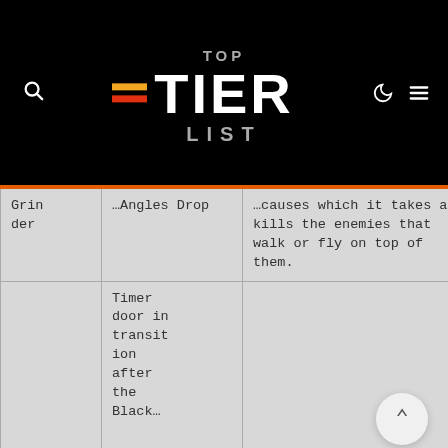[Figure (logo): Top Tier List logo on black background with search icon, moon icon, and hamburger menu icon]
|  |  |  |
| --- | --- | --- |
| Grinder | …Angles Drop | …causes which it takes and kills the enemies that walk or fly on top of them. |
| Ivy Gren… | Timer door in transition after the Black… | Immobilizes enemies caught in the blast while… |